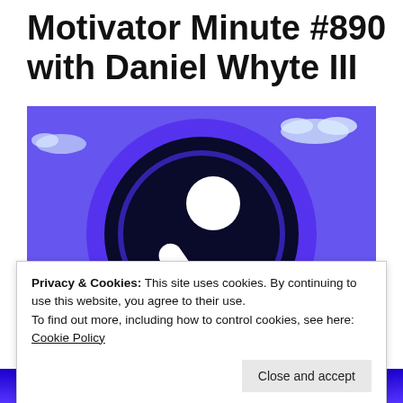Motivator Minute #890 with Daniel Whyte III
[Figure (illustration): Podcast logo: dark navy/indigo circular disc on a blue background with white clouds. White person/microphone icon in the center of the disc on a dark background.]
Privacy & Cookies: This site uses cookies. By continuing to use this website, you agree to their use.
To find out more, including how to control cookies, see here: Cookie Policy
Close and accept
with Daniel Whyte III